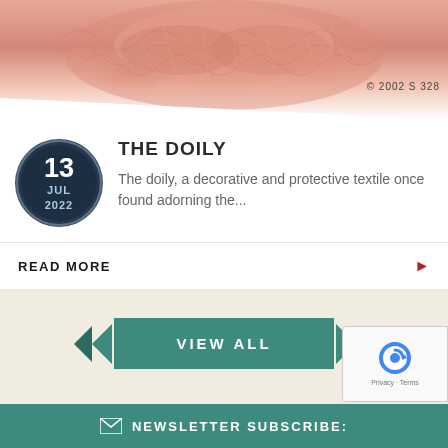[Figure (photo): Pink/coral decorative doily textile photographed from above, with fibrous and lacy texture. Watermark text '© 2002 S 328' visible at bottom right.]
13 JUL 2022
THE DOILY
The doily, a decorative and protective textile once found adorning the...
READ MORE
VIEW ALL
[Figure (logo): Google reCAPTCHA badge with spinning arrow logo and Privacy · Terms text]
NEWSLETTER SUBSCRIBE: